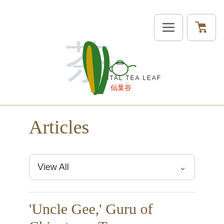[Figure (logo): Vital Tea Leaf logo with Chinese character 茶 in light gray, a green tea leaf/brush stroke, small teapot icon, text 'VITAL TEA LEAF' and Chinese characters 仙葉谷 in red]
Articles
View All
'Uncle Gee,' Guru of Chinatown Tea